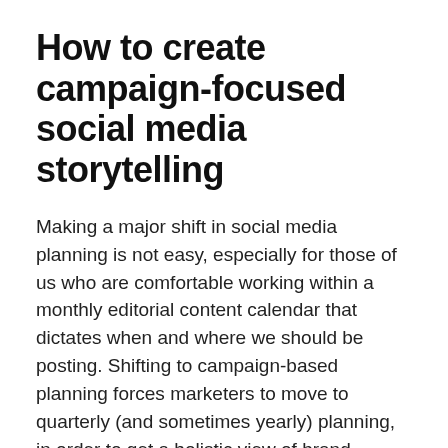How to create campaign-focused social media storytelling
Making a major shift in social media planning is not easy, especially for those of us who are comfortable working within a monthly editorial content calendar that dictates when and where we should be posting. Shifting to campaign-based planning forces marketers to move to quarterly (and sometimes yearly) planning, in order to get a holistic view of brand priorities, messaging, seasonality, and audience. While difficult, this shift also helps ensure that social media is integrated into the larger campaigns happening across a brand's digital